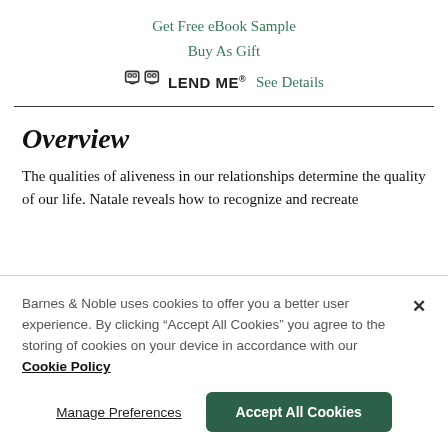Get Free eBook Sample
Buy As Gift
LEND ME® See Details
Overview
The qualities of aliveness in our relationships determine the quality of our life. Natale reveals how to recognize and recreate
Barnes & Noble uses cookies to offer you a better user experience. By clicking "Accept All Cookies" you agree to the storing of cookies on your device in accordance with our Cookie Policy
Manage Preferences
Accept All Cookies